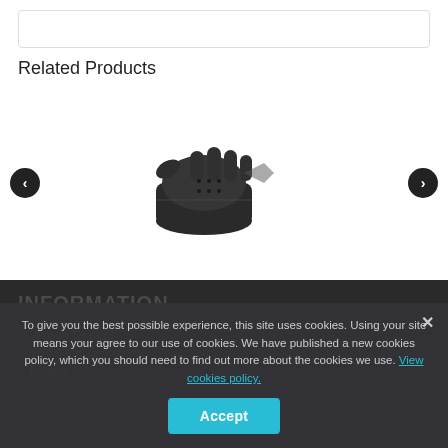Related Products
[Figure (photo): Black leather women's perforated engineer gloves photographed at an angle showing the gauntlet style.]
WOMENS PERF ENGINEER GI
Model ENGL P150
INFORMATION
Vanson Dealers
Terms and conditions
Privacy Policy
To give you the best possible experience, this site uses cookies. Using your site means your agree to our use of cookies. We have published a new cookies policy, which you should need to find out more about the cookies we use. View cookies policy.